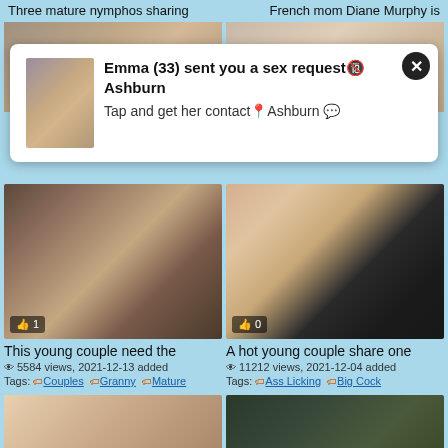Three mature nymphos sharing
French mom Diane Murphy is
[Figure (screenshot): Popup advertisement overlay showing a woman photo and text: Emma (33) sent you a sex request Ashburn / Tap and get her contact Ashburn]
[Figure (photo): Video thumbnail: young couple on sofa, like count 1]
[Figure (photo): Video thumbnail: couple scene, like count 0]
This young couple need the
5584 views, 2021-12-13 added
Tags: Couples Granny Mature
A hot young couple share one
11212 views, 2021-12-04 added
Tags: Ass Licking Big Cock
[Figure (photo): Partially visible bottom thumbnail left]
[Figure (photo): Partially visible bottom thumbnail right]